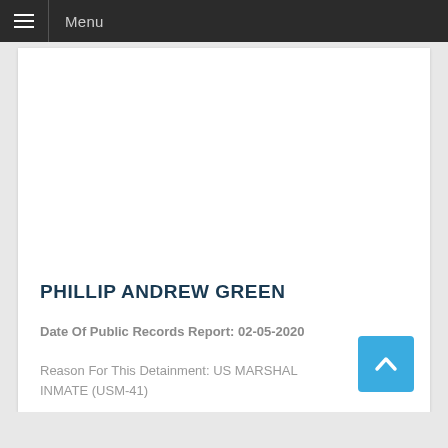Menu
PHILLIP ANDREW GREEN
Date Of Public Records Report: 02-05-2020
Reason For This Detainment: US MARSHAL INMATE (USM-41)